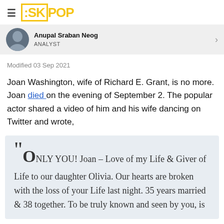ESKPOP
Anupal Sraban Neog
ANALYST
Modified 03 Sep 2021
Joan Washington, wife of Richard E. Grant, is no more. Joan died on the evening of September 2. The popular actor shared a video of him and his wife dancing on Twitter and wrote,
“ONLY YOU! Joan – Love of my Life & Giver of Life to our daughter Olivia. Our hearts are broken with the loss of your Life last night. 35 years married & 38 together. To be truly known and seen by you, is